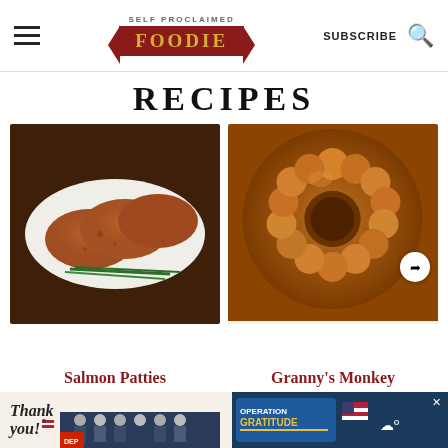SELF PROCLAIMED FOODIE — SUBSCRIBE
RECIPES
[Figure (photo): Salmon patties arranged on a white platter with fresh herbs/rosemary on a dark wood background]
[Figure (photo): Overhead view of Granny's Monkey Bread in a bundt pan, covered in caramel sauce, with a share icon overlay and 'What's Next: Easy Refrigerator...' notification]
Salmon Patties
Granny's Monkey
[Figure (photo): Advertisement banner: 'Thank you' with firefighters and Operation Gratitude logo]